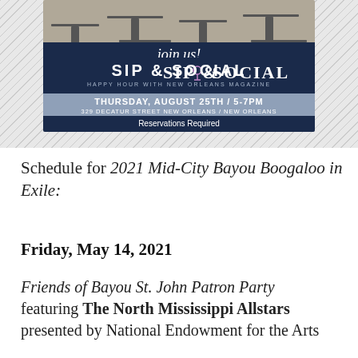[Figure (illustration): Sip & Social event flyer for New Orleans Magazine. Dark navy banner with 'join us!' in script, 'SIP & SOCIAL' in large serif text, 'HAPPY HOUR WITH NEW ORLEANS MAGAZINE', 'THURSDAY, AUGUST 25TH / 5-7PM', '329 DECATUR STREET NEW ORLEANS / NEW ORLEANS', 'Reservations Required'. Background shows an outdoor patio/restaurant setting.]
Schedule for 2021 Mid-City Bayou Boogaloo in Exile:
Friday, May 14, 2021
Friends of Bayou St. John Patron Party featuring The North Mississippi Allstars presented by National Endowment for the Arts